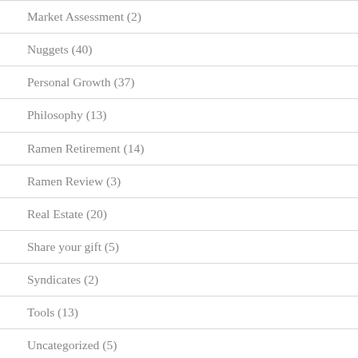Market Assessment (2)
Nuggets (40)
Personal Growth (37)
Philosophy (13)
Ramen Retirement (14)
Ramen Review (3)
Real Estate (20)
Share your gift (5)
Syndicates (2)
Tools (13)
Uncategorized (5)